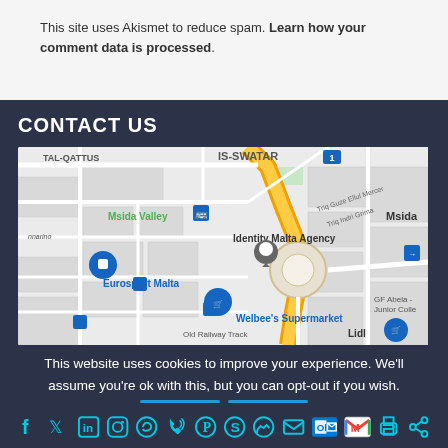This site uses Akismet to reduce spam. Learn how your comment data is processed.
CONTACT US
[Figure (map): Google Maps showing Msida Valley area in Malta with landmarks including Eurosport Malta, Identity Malta Agency, Welbee's Supermarket, TAL-QATTUS, IS-SWATAR, and GF Abela Junior College]
This website uses cookies to improve your experience. We'll assume you're ok with this, but you can opt-out if you wish.